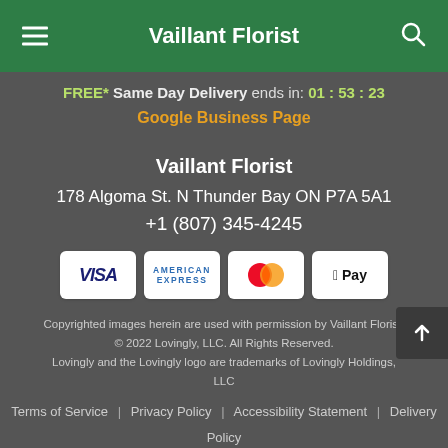Vaillant Florist
FREE* Same Day Delivery ends in: 01 : 53 : 23
Google Business Page
Vaillant Florist
178 Algoma St. N Thunder Bay ON P7A 5A1
+1 (807) 345-4245
[Figure (other): Payment method badges: VISA, American Express, Mastercard, Apple Pay]
Copyrighted images herein are used with permission by Vaillant Florist. © 2022 Lovingly, LLC. All Rights Reserved. Lovingly and the Lovingly logo are trademarks of Lovingly Holdings, LLC
Terms of Service | Privacy Policy | Accessibility Statement | Delivery Policy